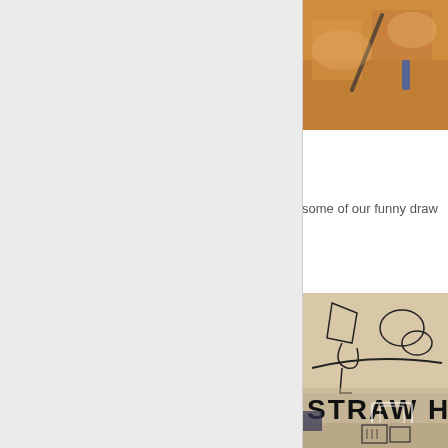[Figure (photo): Partial view of a photo showing hands or objects on a table with warm orange tones, cropped at right edge]
some of our funny draw
[Figure (photo): Sketch drawing on paper showing cartoon-style characters and 'STRAW HA' text in bold marker, partially cropped]